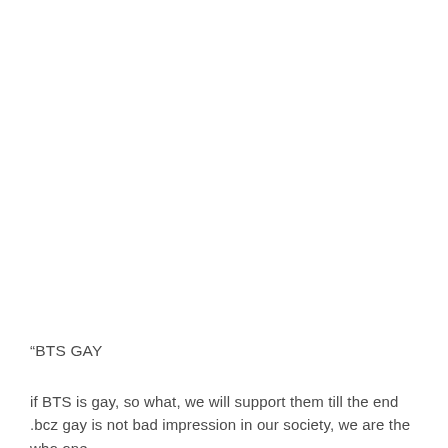“BTS GAY
if BTS is gay, so what, we will support them till the end .bcz gay is not bad impression in our society, we are the who one